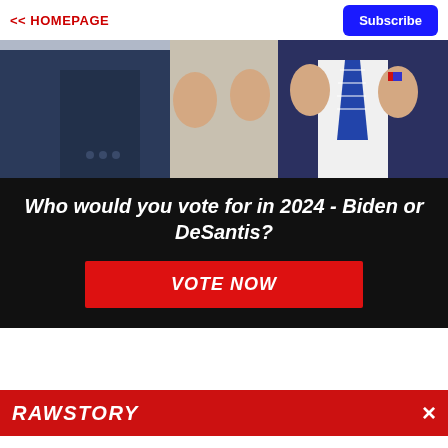<< HOMEPAGE
[Figure (photo): Two men in dark suits adjusting their jacket lapels, one wearing a blue and white striped tie]
Who would you vote for in 2024 - Biden or DeSantis?
VOTE NOW
[Figure (logo): RAW STORY logo in white italic text on red background with X close button]